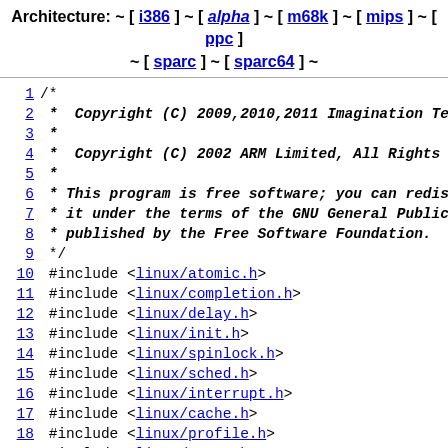Architecture: ~ [ i386 ] ~ [ alpha ] ~ [ m68k ] ~ [ mips ] ~ [ ppc ] ~ [ sparc ] ~ [ sparc64 ] ~
1 /*
2 *  Copyright (C) 2009,2010,2011 Imagination Technolog
3 *
4 *  Copyright (C) 2002 ARM Limited, All Rights Reserved
5 *
6 * This program is free software; you can redistribute it
7 * it under the terms of the GNU General Public License
8 * published by the Free Software Foundation.
9 */
10 #include <linux/atomic.h>
11 #include <linux/completion.h>
12 #include <linux/delay.h>
13 #include <linux/init.h>
14 #include <linux/spinlock.h>
15 #include <linux/sched.h>
16 #include <linux/interrupt.h>
17 #include <linux/cache.h>
18 #include <linux/profile.h>
19 #include <linux/errno.h>
20 #include <linux/mm.h>
21 #include <linux/err.h>
22 #include <linux/cpu.h>